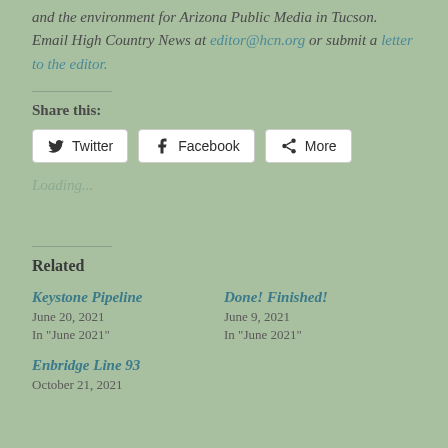and the environment for Arizona Public Media in Tucson. Email High Country News at editor@hcn.org or submit a letter to the editor.
Share this:
[Figure (other): Social share buttons: Twitter, Facebook, More]
Loading...
Related
Keystone Pipeline
June 20, 2021
In "June 2021"
Done! Finished!
June 9, 2021
In "June 2021"
Enbridge Line 93
October 21, 2021